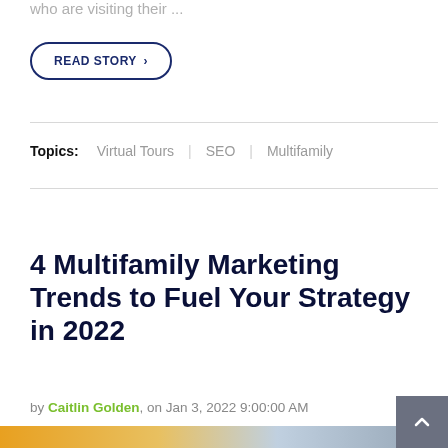who are visiting their ...
READ STORY >
Topics: Virtual Tours | SEO | Multifamily
4 Multifamily Marketing Trends to Fuel Your Strategy in 2022
by Caitlin Golden, on Jan 3, 2022 9:00:00 AM